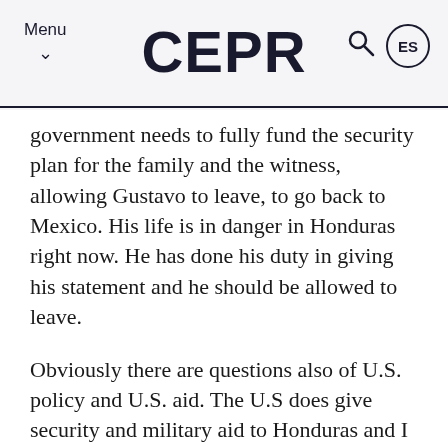Menu ∨   CEPR   🔍  ES
government needs to fully fund the security plan for the family and the witness, allowing Gustavo to leave, to go back to Mexico. His life is in danger in Honduras right now. He has done his duty in giving his statement and he should be allowed to leave.
Obviously there are questions also of U.S. policy and U.S. aid. The U.S does give security and military aid to Honduras and I think that needs to be questioned, and my organization believes it needs